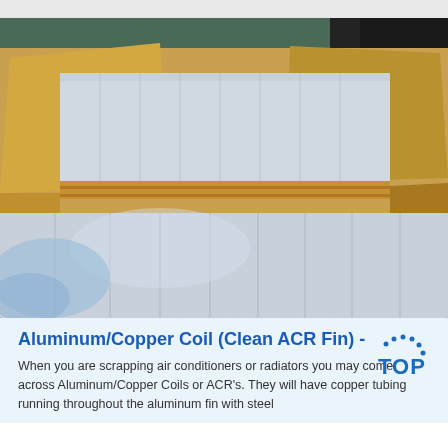[Figure (photo): Photo of aluminum/copper coil sheets (ACR fin stock) stacked in cardboard packaging, showing shiny silver metallic sheets with gold-colored edges, in an industrial warehouse setting.]
Aluminum/Copper Coil (Clean ACR Fin) -
When you are scrapping air conditioners or radiators you may come across Aluminum/Copper Coils or ACR's. They will have copper tubing running throughout the aluminum fin with steel